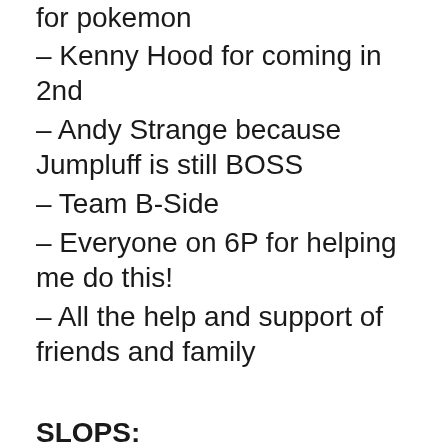for pokemon
– Kenny Hood for coming in 2nd
– Andy Strange because Jumpluff is still BOSS
– Team B-Side
– Everyone on 6P for helping me do this!
– All the help and support of friends and family
SLOPS:
– The heat index
– ...